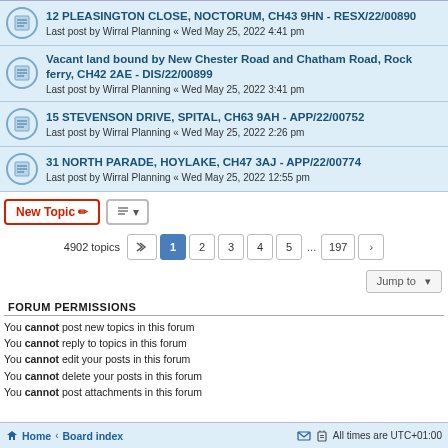12 PLEASINGTON CLOSE, NOCTORUM, CH43 9HN - RESX/22/00890
Last post by Wirral Planning « Wed May 25, 2022 4:41 pm
Vacant land bound by New Chester Road and Chatham Road, Rock ferry, CH42 2AE - DIS/22/00899
Last post by Wirral Planning « Wed May 25, 2022 3:41 pm
15 STEVENSON DRIVE, SPITAL, CH63 9AH - APP/22/00752
Last post by Wirral Planning « Wed May 25, 2022 2:26 pm
31 NORTH PARADE, HOYLAKE, CH47 3AJ - APP/22/00774
Last post by Wirral Planning « Wed May 25, 2022 12:55 pm
4902 topics  1 2 3 4 5 ... 197
FORUM PERMISSIONS
You cannot post new topics in this forum
You cannot reply to topics in this forum
You cannot edit your posts in this forum
You cannot delete your posts in this forum
You cannot post attachments in this forum
Home · Board index   All times are UTC+01:00